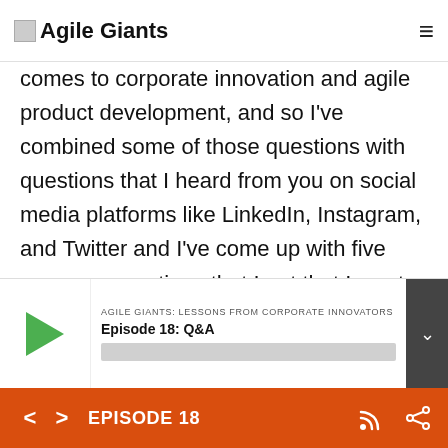Agile Giants
comes to corporate innovation and agile product development, and so I've combined some of those questions with questions that I heard from you on social media platforms like LinkedIn, Instagram, and Twitter and I've come up with five common questions that I get that I want to do a little Q&A on today. We'll see how this works, but if this is interesting to you let me know
AGILE GIANTS: LESSONS FROM CORPORATE INNOVATORS
Episode 18: Q&A
EPISODE 18